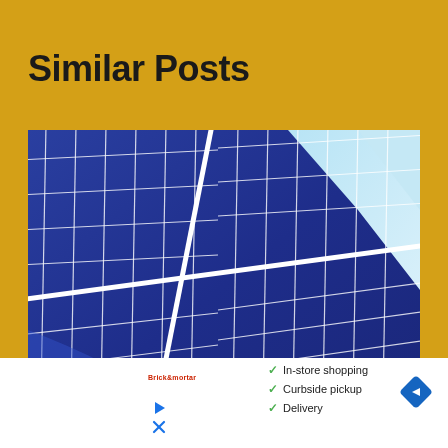Similar Posts
[Figure (photo): Close-up photograph of blue solar panels arranged in a grid pattern, photographed at an angle against a light sky background. The panels show multiple photovoltaic cells arranged in rows.]
In-store shopping
Curbside pickup
Delivery